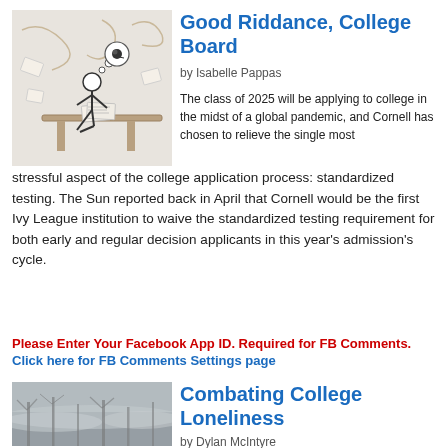[Figure (illustration): Stick figure person sitting at a desk, appearing stressed, with a thought bubble containing a small animal icon, surrounded by floating papers. Drawn in a sketchy style on light gray background.]
Good Riddance, College Board
by Isabelle Pappas
The class of 2025 will be applying to college in the midst of a global pandemic, and Cornell has chosen to relieve the single most stressful aspect of the college application process: standardized testing. The Sun reported back in April that Cornell would be the first Ivy League institution to waive the standardized testing requirement for both early and regular decision applicants in this year's admission's cycle.
Please Enter Your Facebook App ID. Required for FB Comments. Click here for FB Comments Settings page
[Figure (photo): Foggy outdoor scene with bare trees and misty gray atmosphere, suggesting a cold, lonely environment.]
Combating College Loneliness
by Dylan McIntyre
Let's face it: making friends at college is...